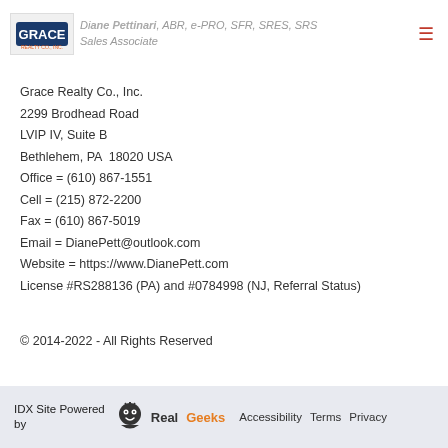[Figure (logo): Grace Realty Co. Inc. logo with agent photo]
Diane Pettinari, ABR, e-PRO, SFR, SRES, SRS
Sales Associate
Grace Realty Co., Inc.
2299 Brodhead Road
LVIP IV, Suite B
Bethlehem, PA  18020 USA
Office = (610) 867-1551
Cell = (215) 872-2200
Fax = (610) 867-5019
Email = DianePett@outlook.com
Website = https://www.DianePett.com
License #RS288136 (PA) and #0784998 (NJ, Referral Status)
© 2014-2022 - All Rights Reserved
IDX Site Powered by   RealGeeks   Accessibility   Terms   Privacy